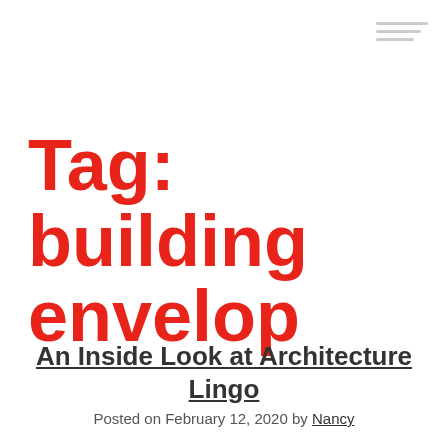Tag: building envelop
An Inside Look at Architecture Lingo
Posted on February 12, 2020 by Nancy
[Figure (photo): Interior photo showing wooden paneling on the left and windows with outdoor foliage visible on the right]